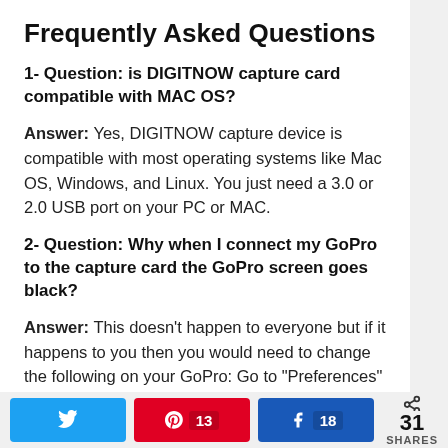Frequently Asked Questions
1- Question: is DIGITNOW capture card compatible with MAC OS?
Answer: Yes, DIGITNOW capture device is compatible with most operating systems like Mac OS, Windows, and Linux. You just need a 3.0 or 2.0 USB port on your PC or MAC.
2- Question: Why when I connect my GoPro to the capture card the GoPro screen goes black?
Answer: This doesn’t happen to everyone but if it happens to you then you would need to change the following on your GoPro: Go to “Preferences” then under “I/O”, select “HDMI Output”. Set it to “Live”.
Twitter share | Pinterest 13 | Facebook 18 | 31 SHARES